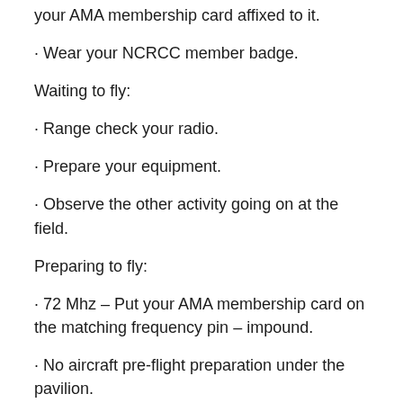· your AMA membership card affixed to it.
· Wear your NCRCC member badge.
Waiting to fly:
· Range check your radio.
· Prepare your equipment.
· Observe the other activity going on at the field.
Preparing to fly:
· 72 Mhz – Put your AMA membership card on the matching frequency pin – impound.
· No aircraft pre-flight preparation under the pavilion.
· Ensure that your aircraft is restrained; respect electric start-up possibility.
· Check all R/C functions with engine/motor running.